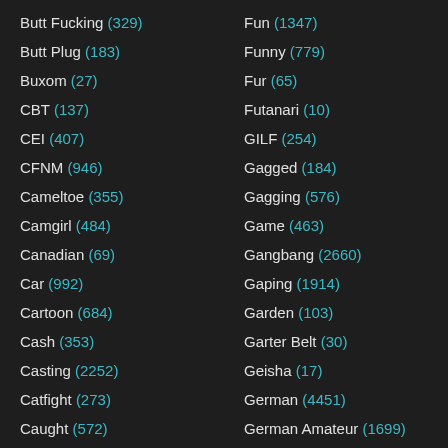Butt Fucking (329)
Butt Plug (183)
Buxom (27)
CBT (137)
CEI (407)
CFNM (946)
Cameltoe (355)
Camgirl (484)
Canadian (69)
Car (992)
Cartoon (684)
Cash (353)
Casting (2252)
Catfight (273)
Caught (572)
Fun (1347)
Funny (779)
Fur (65)
Futanari (10)
GILF (254)
Gagged (184)
Gagging (576)
Game (463)
Gangbang (2660)
Gaping (1914)
Garden (103)
Garter Belt (30)
Geisha (17)
German (4451)
German Amateur (1699)